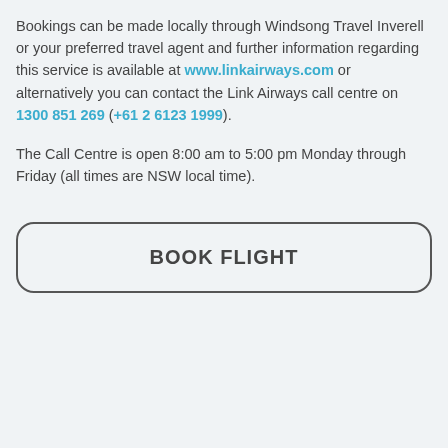Bookings can be made locally through Windsong Travel Inverell or your preferred travel agent and further information regarding this service is available at www.linkairways.com or alternatively you can contact the Link Airways call centre on 1300 851 269 (+61 2 6123 1999).
The Call Centre is open 8:00 am to 5:00 pm Monday through Friday (all times are NSW local time).
BOOK FLIGHT